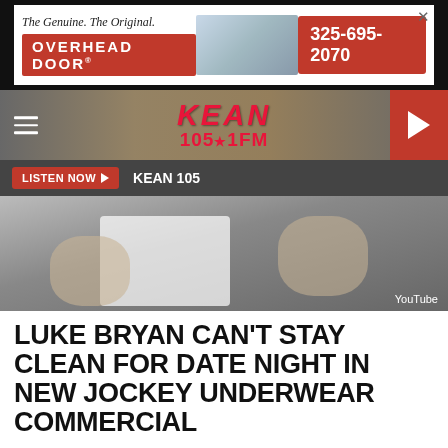[Figure (photo): Overhead Door advertisement banner: 'The Genuine. The Original.' with logo and phone number 325-695-2070, house image on right]
[Figure (logo): KEAN 105.1 FM radio station navigation bar with hamburger menu, logo, and play button]
LISTEN NOW ▶  KEAN 105
[Figure (screenshot): Video thumbnail showing hands, YouTube watermark in corner]
LUKE BRYAN CAN'T STAY CLEAN FOR DATE NIGHT IN NEW JOCKEY UNDERWEAR COMMERCIAL
Billy Dukes
Published: September 11, 2020
[Figure (photo): Jackson Bros. Feed & Seed advertisement: 'We are more than a feed store!' 3818 S. Treadaway Blvd Abilene, Tx. 79602 325-691-1110]